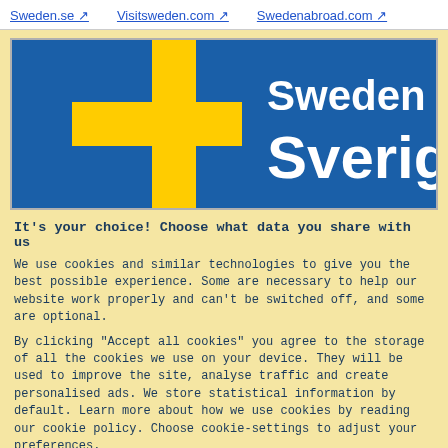Sweden.se ↗   Visitsweden.com ↗   Swedenabroad.com ↗
[Figure (logo): Swedish government branding hero image: blue background with Swedish flag (yellow cross on blue) on the left, and white text 'Sweden' and 'Sverige' on the right.]
It's your choice! Choose what data you share with us
We use cookies and similar technologies to give you the best possible experience. Some are necessary to help our website work properly and can't be switched off, and some are optional.
By clicking "Accept all cookies" you agree to the storage of all the cookies we use on your device. They will be used to improve the site, analyse traffic and create personalised ads. We store statistical information by default. Learn more about how we use cookies by reading our cookie policy. Choose cookie-settings to adjust your preferences.
Cookie-settings   🍪   Accept all cookies